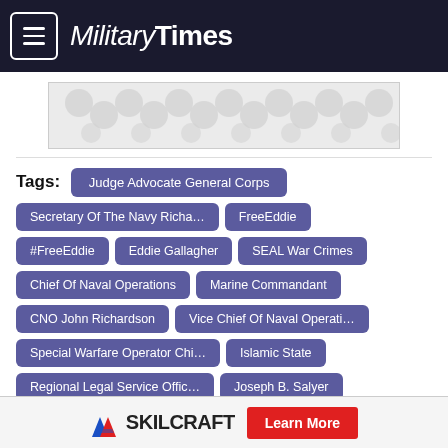MilitaryTimes
[Figure (other): Advertisement banner with decorative pattern]
Tags: Judge Advocate General Corps
Secretary Of The Navy Richa…
FreeEddie
#FreeEddie
Eddie Gallagher
SEAL War Crimes
Chief Of Naval Operations
Marine Commandant
CNO John Richardson
Vice Chief Of Naval Operati…
Special Warfare Operator Chi…
Islamic State
Regional Legal Service Offic…
Joseph B. Salyer
Robert “Butch” Bracknell
Michael M. Gilday
SKILCRAFT Learn More